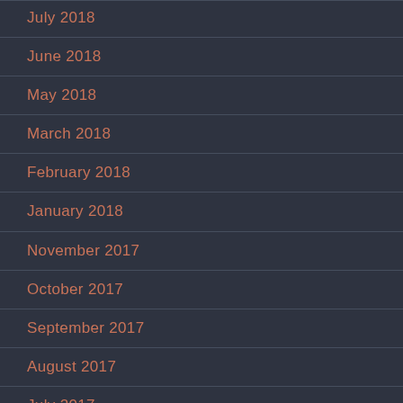July 2018
June 2018
May 2018
March 2018
February 2018
January 2018
November 2017
October 2017
September 2017
August 2017
July 2017